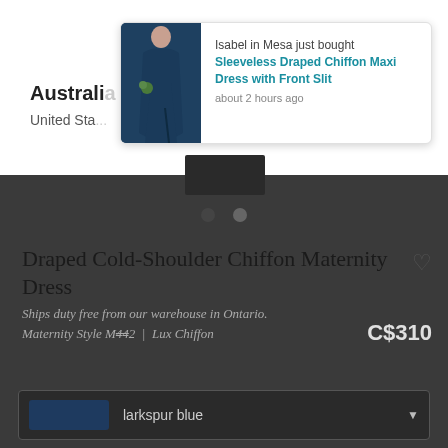[Figure (screenshot): Popup notification card showing a woman in a navy/dark blue sleeveless draped chiffon maxi dress. Text reads: 'Isabel in Mesa just bought Sleeveless Draped Chiffon Maxi Dress with Front Slit about 2 hours ago']
Australia
United Sta...
Draped Cold-Shoulder Chiffon Maternity Dress
Ships duty free from our warehouse in Ontario.
Maternity Style M442 | Lux Chiffon
C$310
larkspur blue